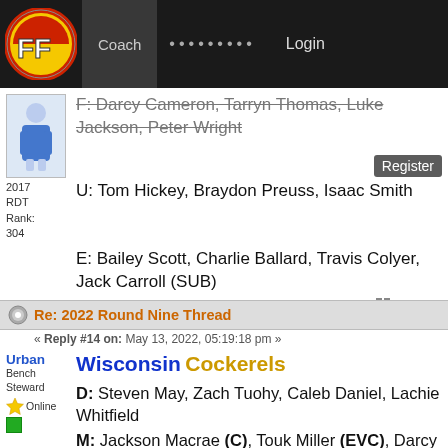FF Coach | ......... | Login
F: Darcy Cameron, Tarryn Thomas, Luke Jackson, Peter Wright
U: Tom Hickey, Braydon Preuss, Isaac Smith
2017 RDT Rank: 304
E: Bailey Scott, Charlie Ballard, Travis Colyer, Jack Carroll (SUB)
Logged
Re: 2022 Round Nine Thread
« Reply #14 on: May 13, 2022, 05:19:18 pm »
Wisconsin Cockerels
D: Steven May, Zach Tuohy, Caleb Daniel, Lachie Whitfield
M: Jackson Macrae (C), Touk Miller (EVC), Darcy Parish (VC), Matt Kennedy, Dayne Zorko, Seb R...
Urban
Bench Steward
Online